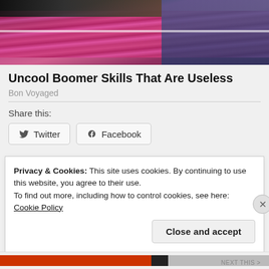[Figure (photo): Photo of person in black top lying on pink/magenta silk cushions with blue jeans visible, partial view]
Uncool Boomer Skills That Are Useless
Bon Voyaged
Share this:
Twitter
Facebook
Privacy & Cookies: This site uses cookies. By continuing to use this website, you agree to their use.
To find out more, including how to control cookies, see here: Cookie Policy
Close and accept